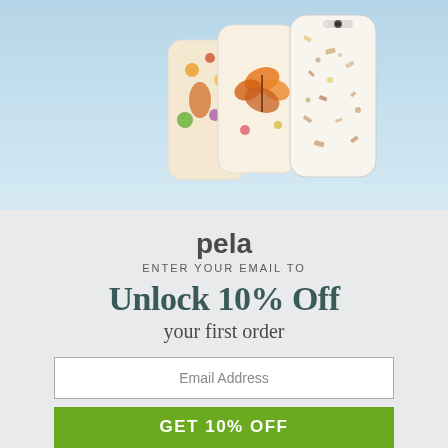[Figure (photo): Product photo of decorative phone cases with floral, mushroom, butterfly, and terrazzo patterns displayed against a light blue background.]
pela
ENTER YOUR EMAIL TO
Unlock 10% Off
your first order
Email Address
GET 10% OFF